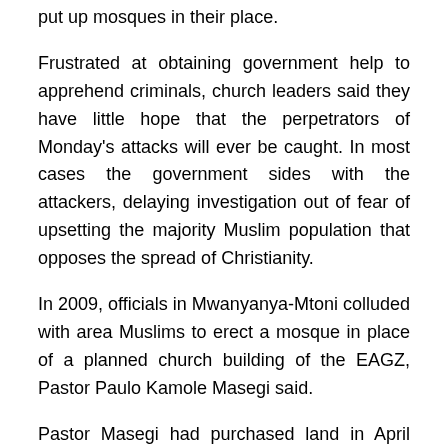put up mosques in their place.
Frustrated at obtaining government help to apprehend criminals, church leaders said they have little hope that the perpetrators of Monday's attacks will ever be caught. In most cases the government sides with the attackers, delaying investigation out of fear of upsetting the majority Muslim population that opposes the spread of Christianity.
In 2009, officials in Mwanyanya-Mtoni colluded with area Muslims to erect a mosque in place of a planned church building of the EAGZ, Pastor Paulo Kamole Masegi said.
Pastor Masegi had purchased land in April 2007 for a church building in Mwanyanya-Mtoni, and by November of that year he had built a house that served as a temporary worship center, he said. Soon area Muslim residents objected.